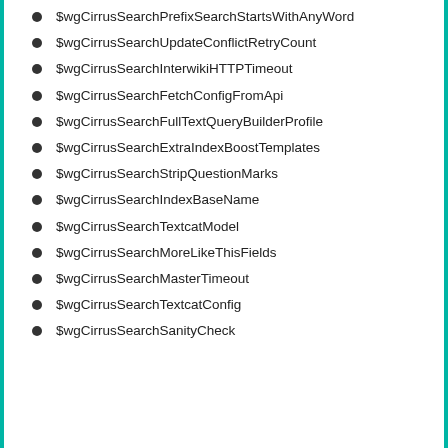$wgCirrusSearchPrefixSearchStartsWithAnyWord
$wgCirrusSearchUpdateConflictRetryCount
$wgCirrusSearchInterwikiHTTPTimeout
$wgCirrusSearchFetchConfigFromApi
$wgCirrusSearchFullTextQueryBuilderProfile
$wgCirrusSearchExtraIndexBoostTemplates
$wgCirrusSearchStripQuestionMarks
$wgCirrusSearchIndexBaseName
$wgCirrusSearchTextcatModel
$wgCirrusSearchMoreLikeThisFields
$wgCirrusSearchMasterTimeout
$wgCirrusSearchTextcatConfig
$wgCirrusSearchSanityCheck